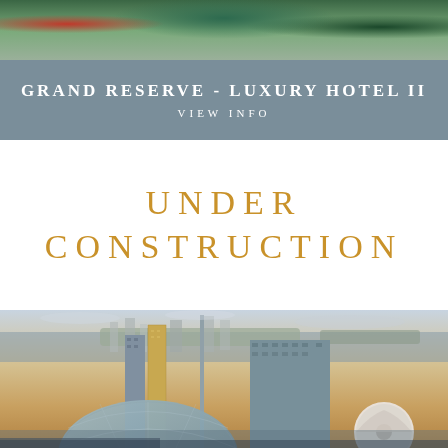[Figure (photo): Top banner photo showing tropical greenery and red flowers with a pool or water element visible]
GRAND RESERVE - LUXURY HOTEL II
VIEW INFO
UNDER CONSTRUCTION
[Figure (photo): Aerial cityscape photo of Miami skyline at sunset showing skyscrapers, a domed arena, waterfront buildings, Biscayne Bay, and barrier islands in the background]